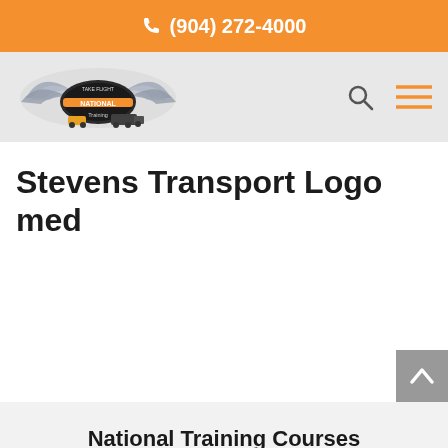(904) 272-4000
[Figure (logo): National Training logo with wings and trucks, 'Take Flight National Training' text]
Stevens Transport Logo med
National Training Courses
Contact us for more information on the various courses we offer.